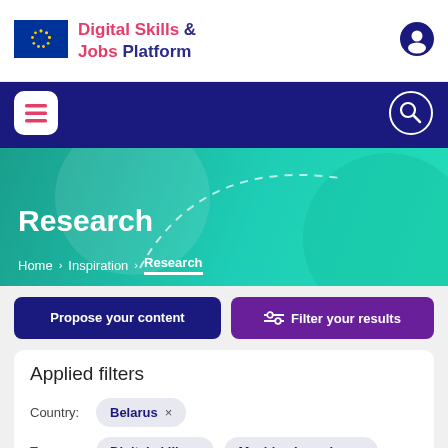Digital Skills & Jobs Platform
[Figure (logo): EU flag logo with stars on blue background]
[Figure (illustration): User/account icon (person silhouette in circle)]
[Figure (illustration): Hamburger menu icon (three horizontal lines in white rounded square)]
[Figure (illustration): Search magnifying glass icon in white circle outline]
Research
Home › Inspiration › Research
Propose your content
Filter your results
Applied filters
Country: Belarus ×
Tags: Digital skills × Machine Learning ×